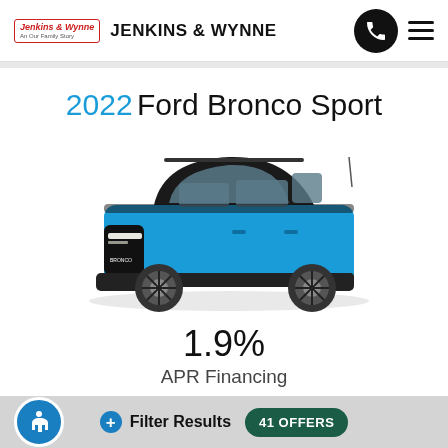JENKINS & WYNNE
2022 Ford Bronco Sport
[Figure (photo): 2022 Ford Bronco Sport SUV in blue color, side/front 3/4 view on white background]
1.9%
APR Financing
Filter Results  41 OFFERS